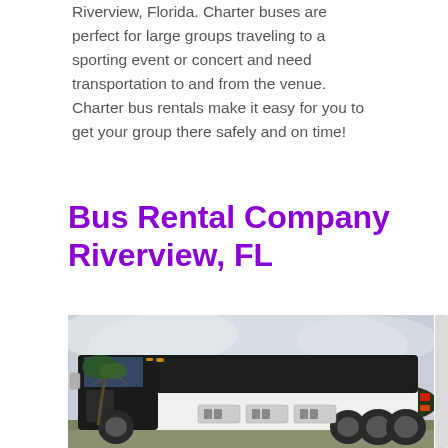Riverview, Florida. Charter buses are perfect for large groups traveling to a sporting event or concert and need transportation to and from the venue. Charter bus rentals make it easy for you to get your group there safely and on time!
Bus Rental Company Riverview, FL
[Figure (photo): A large white charter bus photographed outdoors in a parking area with a cloudy sky background and some greenery visible.]